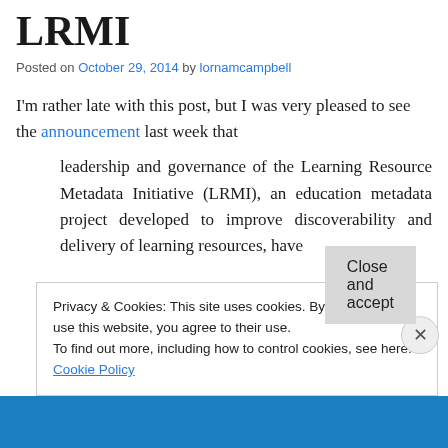LRMI
Posted on October 29, 2014 by lornamcampbell
I'm rather late with this post, but I was very pleased to see the announcement last week that
leadership and governance of the Learning Resource Metadata Initiative (LRMI), an education metadata project developed to improve discoverability and delivery of learning resources, have
Privacy & Cookies: This site uses cookies. By continuing to use this website, you agree to their use.
To find out more, including how to control cookies, see here: Cookie Policy
Close and accept